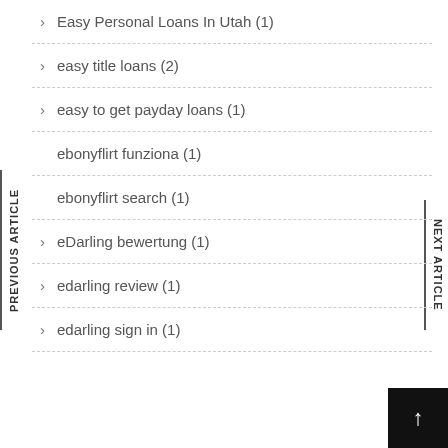Easy Personal Loans In Utah (1)
easy title loans (2)
easy to get payday loans (1)
ebonyflirt funziona (1)
ebonyflirt search (1)
eDarling bewertung (1)
edarling review (1)
edarling sign in (1)